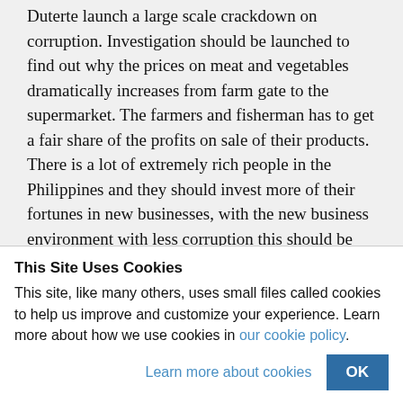Duterte launch a large scale crackdown on corruption. Investigation should be launched to find out why the prices on meat and vegetables dramatically increases from farm gate to the supermarket. The farmers and fisherman has to get a fair share of the profits on sale of their products. There is a lot of extremely rich people in the Philippines and they should invest more of their fortunes in new businesses, with the new business environment with less corruption this should be achievable.
Ken Nguyen
October 14, 2016 at 9:28 PM
This Site Uses Cookies
This site, like many others, uses small files called cookies to help us improve and customize your experience. Learn more about how we use cookies in our cookie policy.
Learn more about cookies    OK